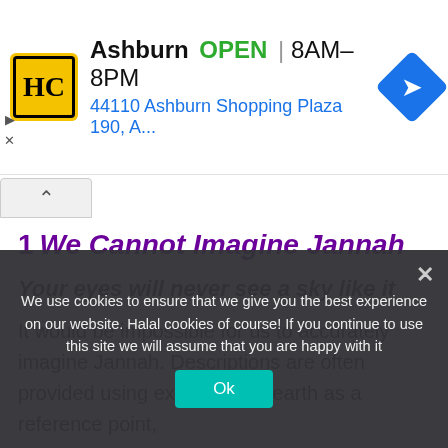[Figure (screenshot): Advertisement banner for Hardee's/HC restaurant in Ashburn, showing logo, OPEN status, hours 8AM-8PM, address 44110 Ashburn Shopping Plaza 190 A., and navigation icon]
1 We Cannot Imagine Jannah
Your eyes will never see a sky like it
It would be impossible for us to accurately imagine Jannah. Descriptions are often provided using examples on earth as a reference point,
in Jannah are far higher.
Remember the hadith of rivers of Jannah?
We use cookies to ensure that we give you the best experience on our website. Halal cookies of course! If you continue to use this site we will assume that you are happy with it